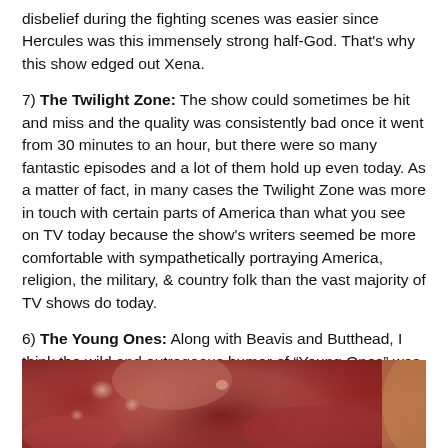disbelief during the fighting scenes was easier since Hercules was this immensely strong half-God. That's why this show edged out Xena.
7) The Twilight Zone: The show could sometimes be hit and miss and the quality was consistently bad once it went from 30 minutes to an hour, but there were so many fantastic episodes and a lot of them hold up even today. As a matter of fact, in many cases the Twilight Zone was more in touch with certain parts of America than what you see on TV today because the show's writers seemed be more comfortable with sympathetically portraying America, religion, the military, & country folk than the vast majority of TV shows do today.
6) The Young Ones: Along with Beavis and Butthead, I think the wild and outrageous humor of “Young Ones” was a forerunner of a lot of the best humor toons on today like “South Park” & “Family Guy.”
advertisement - story continues below
[Figure (photo): Close-up photo of what appears to be raw meat or flesh with reddish tones, used as an advertisement image.]